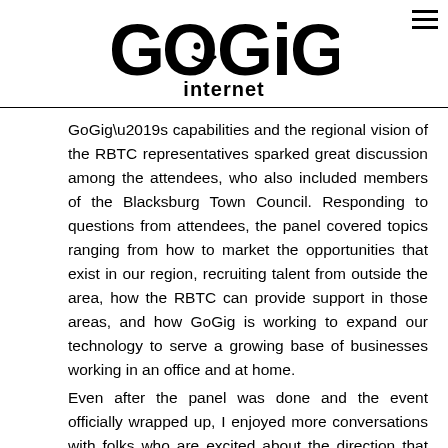[Figure (logo): GoGig Internet logo with smiley face incorporated into the letter G, bold black text]
GoGig’s capabilities and the regional vision of the RBTC representatives sparked great discussion among the attendees, who also included members of the Blacksburg Town Council. Responding to questions from attendees, the panel covered topics ranging from how to market the opportunities that exist in our region, recruiting talent from outside the area, how the RBTC can provide support in those areas, and how GoGig is working to expand our technology to serve a growing base of businesses working in an office and at home.
Even after the panel was done and the event officially wrapped up, I enjoyed more conversations with folks who are excited about the direction that business in